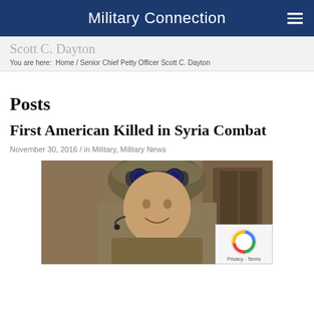Military Connection
Scott C. Dayton
You are here:  Home / Senior Chief Petty Officer Scott C. Dayton
Posts
First American Killed in Syria Combat
November 30, 2016  /  in Military, Military News
[Figure (photo): Photo of a soldier in military gear with helmet and night-vision goggles, smiling, with a communications headset]